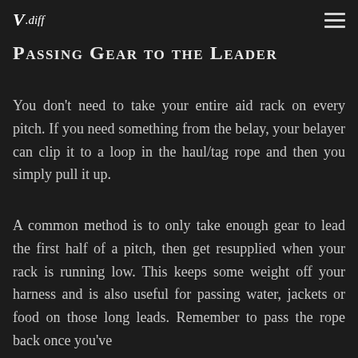V.diff
Passing Gear to the Leader
You don't need to take your entire aid rack on every pitch. If you need something from the belay, your belayer can clip it to a loop in the haul/tag rope and then you simply pull it up.
A common method is to only take enough gear to lead the first half of a pitch, then get resupplied when your rack is running low. This keeps some weight off your harness and is also useful for passing water, jackets or food on those long leads. Remember to pass the rope back once you've